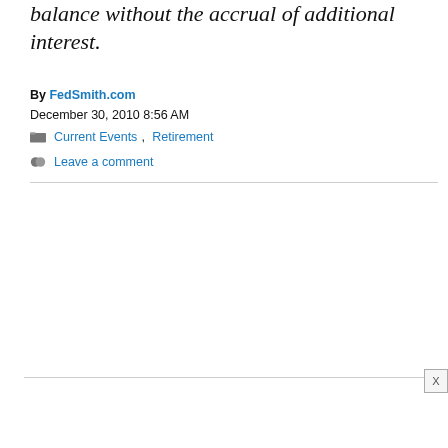balance without the accrual of additional interest.
By FedSmith.com
December 30, 2010 8:56 AM
Current Events, Retirement
Leave a comment